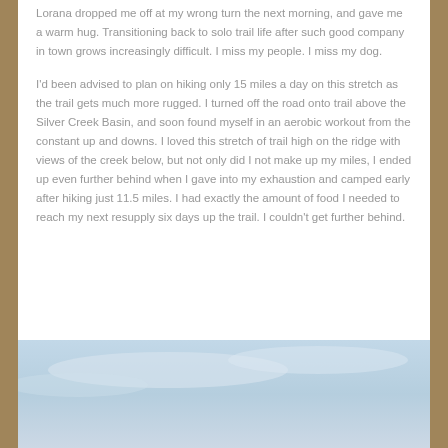Lorana dropped me off at my wrong turn the next morning, and gave me a warm hug. Transitioning back to solo trail life after such good company in town grows increasingly difficult. I miss my people. I miss my dog.
I'd been advised to plan on hiking only 15 miles a day on this stretch as the trail gets much more rugged. I turned off the road onto trail above the Silver Creek Basin, and soon found myself in an aerobic workout from the constant up and downs. I loved this stretch of trail high on the ridge with views of the creek below, but not only did I not make up my miles, I ended up even further behind when I gave into my exhaustion and camped early after hiking just 11.5 miles. I had exactly the amount of food I needed to reach my next resupply six days up the trail. I couldn't get further behind.
[Figure (photo): Partial view of a landscape photo showing a pale blue sky with light clouds, cut off at the bottom of the page.]